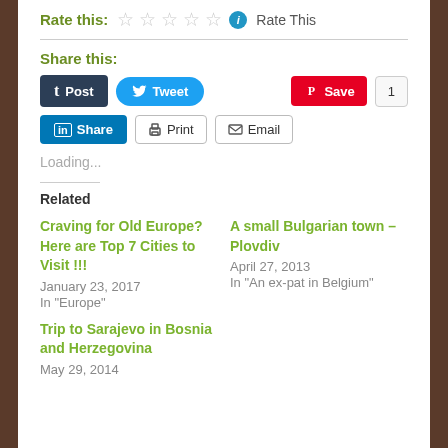Rate this: ☆☆☆☆☆ ℹ Rate This
Share this:
[Figure (screenshot): Social sharing buttons: Post (Tumblr), Tweet (Twitter), Save (Pinterest) with count 1, LinkedIn Share, Print, Email]
Loading...
Related
Craving for Old Europe? Here are Top 7 Cities to Visit !!!
January 23, 2017
In "Europe"
A small Bulgarian town – Plovdiv
April 27, 2013
In "An ex-pat in Belgium"
Trip to Sarajevo in Bosnia and Herzegovina
May 29, 2014